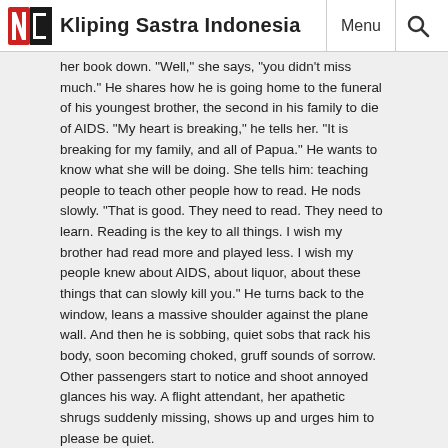Kliping Sastra Indonesia | Menu | [Search]
her book down. "Well," she says, "you didn't miss much." He shares how he is going home to the funeral of his youngest brother, the second in his family to die of AIDS. “My heart is breaking,” he tells her. “It is breaking for my family, and all of Papua.” He wants to know what she will be doing. She tells him: teaching people to teach other people how to read. He nods slowly. “That is good. They need to read. They need to learn. Reading is the key to all things. I wish my brother had read more and played less. I wish my people knew about AIDS, about liquor, about these things that can slowly kill you.” He turns back to the window, leans a massive shoulder against the plane wall. And then he is sobbing, quiet sobs that rack his body, soon becoming choked, gruff sounds of sorrow. Other passengers start to notice and shoot annoyed glances his way. A flight attendant, her apathetic shrugs suddenly missing, shows up and urges him to please be quiet.
Mindy turns to the flight attendant and shakes her head.
“He has suffered a terrible loss. Please let him be.”
Mindy rummages in her purse, finds a package of tissues and